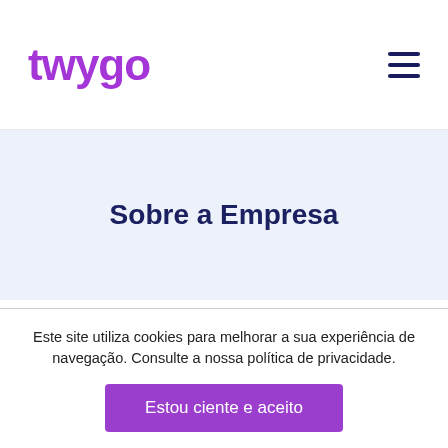twygo
Sobre a Empresa
Desafio do Negócio
Este site utiliza cookies para melhorar a sua experiência de navegação. Consulte a nossa política de privacidade.
Estou ciente e aceito